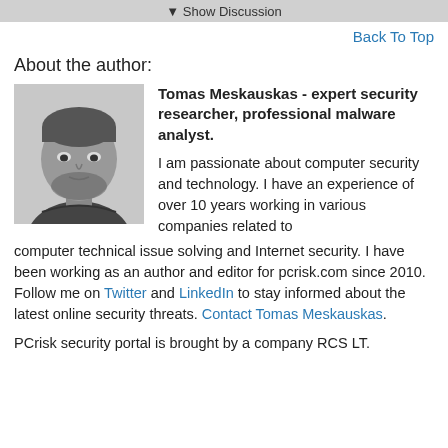▼ Show Discussion
Back To Top
About the author:
[Figure (photo): Black and white headshot photo of Tomas Meskauskas, a man with short hair and a beard, looking directly at the camera.]
Tomas Meskauskas - expert security researcher, professional malware analyst. I am passionate about computer security and technology. I have an experience of over 10 years working in various companies related to computer technical issue solving and Internet security. I have been working as an author and editor for pcrisk.com since 2010. Follow me on Twitter and LinkedIn to stay informed about the latest online security threats. Contact Tomas Meskauskas.
PCrisk security portal is brought by a company RCS LT.